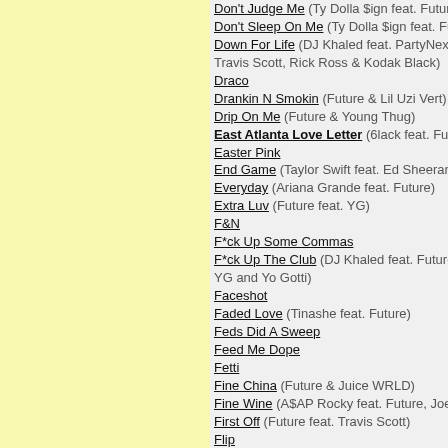Don't Judge Me (Ty Dolla $ign feat. Future & Swa…)
Don't Sleep On Me (Ty Dolla $ign feat. Future & 2…)
Down For Life (DJ Khaled feat. PartyNextDoor, Fu… Travis Scott, Rick Ross & Kodak Black)
Draco
Drankin N Smokin (Future & Lil Uzi Vert)
Drip On Me (Future & Young Thug)
East Atlanta Love Letter (6lack feat. Future)
Easter Pink
End Game (Taylor Swift feat. Ed Sheeran & Futu…)
Everyday (Ariana Grande feat. Future)
Extra Luv (Future feat. YG)
F&N
F*ck Up Some Commas
F*ck Up The Club (DJ Khaled feat. Future, Rick R… YG and Yo Gotti)
Faceshot
Faded Love (Tinashe feat. Future)
Feds Did A Sweep
Feed Me Dope
Fetti
Fine China (Future & Juice WRLD)
Fine Wine (A$AP Rocky feat. Future, Joe Fox & M…)
First Off (Future feat. Travis Scott)
Flip
Fly Shit Only
Forever Eva
Freak Hoe
Fresh Air
Gangland
General (Yo Gotti feat. Future)
Give U Dat (Nelly feat. Future)
Go Harder
Goin Dummi
Gold Stacks
Gone To The Moon
Good Dope